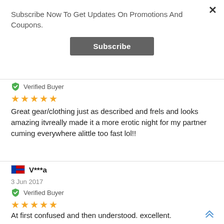Subscribe Now To Get Updates On Promotions And Coupons.
[Figure (other): Subscribe button - dark grey rounded rectangle with white bold text 'Subscribe']
[Figure (other): Green shield checkmark icon with 'Verified Buyer' text]
★★★★★
Great gear/clothing just as described and frels and looks amazing itvreally made it a more erotic night for my partner cuming everywhere alittle too fast lol!!
V***a
3 Jun 2017
[Figure (other): Green shield checkmark icon with 'Verified Buyer' text]
★★★★★
At first confused and then understood. excellent.